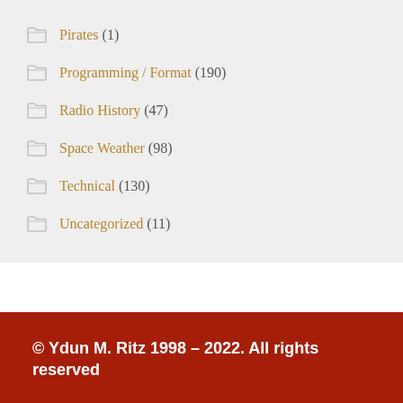Pirates (1)
Programming / Format (190)
Radio History (47)
Space Weather (98)
Technical (130)
Uncategorized (11)
© Ydun M. Ritz 1998 – 2022. All rights reserved